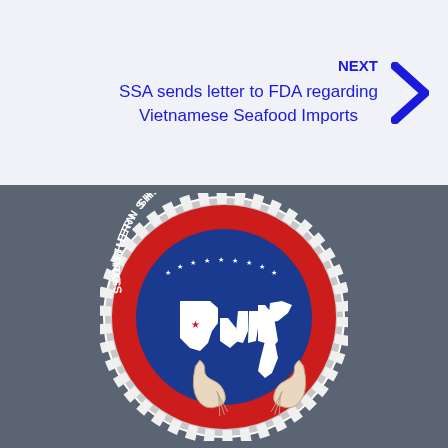NEXT
SSA sends letter to FDA regarding Vietnamese Seafood Imports
[Figure (logo): Southern Shrimp Alliance circular logo featuring a blue circle with white silhouette map of southern US states, surrounded by a red ring with white rope border, text 'SOUTHERN SHRIMP ALLIANCE' around the top, stars across the middle, and two shrimp at the bottom]